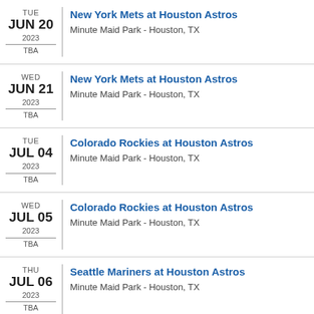TUE JUN 20 2023 TBA | New York Mets at Houston Astros | Minute Maid Park - Houston, TX
WED JUN 21 2023 TBA | New York Mets at Houston Astros | Minute Maid Park - Houston, TX
TUE JUL 04 2023 TBA | Colorado Rockies at Houston Astros | Minute Maid Park - Houston, TX
WED JUL 05 2023 TBA | Colorado Rockies at Houston Astros | Minute Maid Park - Houston, TX
THU JUL 06 2023 TBA | Seattle Mariners at Houston Astros | Minute Maid Park - Houston, TX